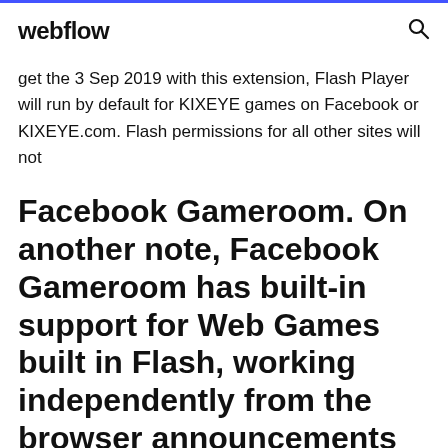webflow
get the 3 Sep 2019 with this extension, Flash Player will run by default for KIXEYE games on Facebook or KIXEYE.com. Flash permissions for all other sites will not
Facebook Gameroom. On another note, Facebook Gameroom has built-in support for Web Games built in Flash, working independently from the browser announcements listed on this page. Players will be able to continue playing their games in Facebook Gameroom. Flash.